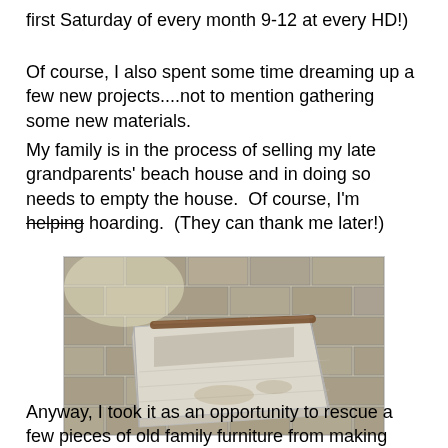first Saturday of every month 9-12 at every HD!)
Of course, I also spent some time dreaming up a few new projects....not to mention gathering some new materials.
My family is in the process of selling my late grandparents' beach house and in doing so needs to empty the house.  Of course, I'm helping hoarding.  (They can thank me later!)
[Figure (photo): An old white wooden toolbox with a rustic metal handle bar across the top, sitting on brick paver stones outdoors in sunlight.]
Anyway, I took it as an opportunity to rescue a few pieces of old family furniture from making their next home at the